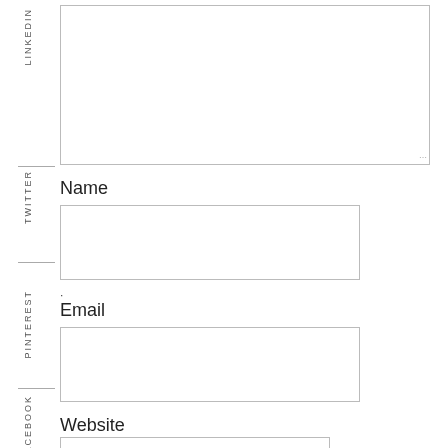LINKEDIN
TWITTER
PINTEREST
FACEBOOK
Name
Email
Website